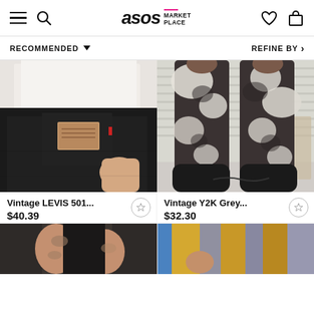ASOS MARKETPLACE — navigation header with hamburger menu, search, logo, wishlist, and cart icons
RECOMMENDED ▼
REFINE BY ›
[Figure (photo): Close-up of a person wearing a white t-shirt and black Levi's 501 jeans, showing the back pocket with a tan leather patch label]
[Figure (photo): Person wearing vintage Y2K grey bleached/tie-dye pattern jeans with black chunky shoes, standing in front of white shutter blinds]
Vintage LEVIS 501...
$40.39
Vintage Y2K Grey...
$32.30
[Figure (photo): Partial view of a person wearing a black top, showing midsection with tattooed arms]
[Figure (photo): Partial view of a person wearing a striped yellow/grey/blue vintage jacket against a blue background]